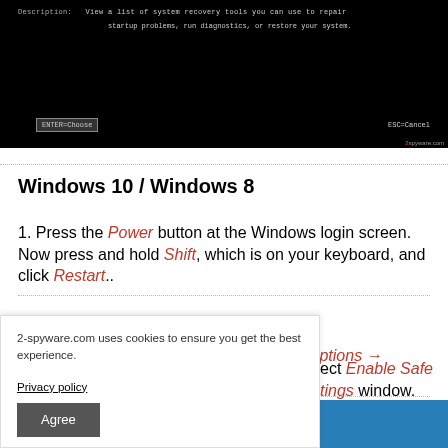[Figure (screenshot): Black terminal/BIOS screen showing system recovery tools menu with description text and ENTER=Choose / ESC=Cancel options, with 2spyware.com watermark]
Windows 10 / Windows 8
1. Press the Power button at the Windows login screen. Now press and hold Shift, which is on your keyboard, and click Restart..
2. Now select Troubleshoot → Advanced options → Startup Settings and finally press Restart.
ect Enable Safe tings window.
2-spyware.com uses cookies to ensure you get the best experience. Privacy policy  Agree